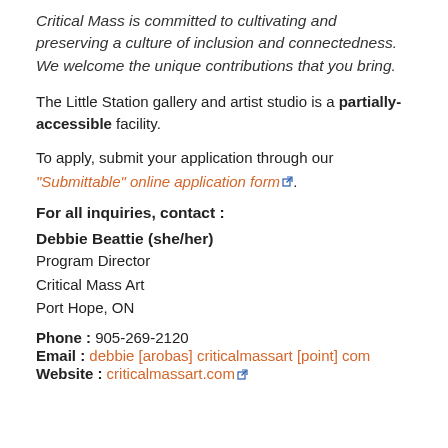Critical Mass is committed to cultivating and preserving a culture of inclusion and connectedness. We welcome the unique contributions that you bring.
The Little Station gallery and artist studio is a partially-accessible facility.
To apply, submit your application through our "Submittable" online application form.
For all inquiries, contact :
Debbie Beattie (she/her)
Program Director
Critical Mass Art
Port Hope, ON
Phone : 905-269-2120
Email : debbie [arobas] criticalmassart [point] com
Website : criticalmassart.com